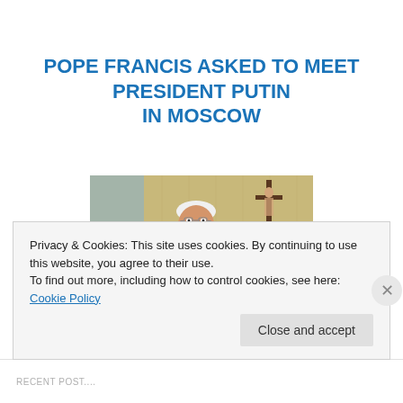POPE FRANCIS ASKED TO MEET PRESIDENT PUTIN IN MOSCOW
[Figure (photo): Pope Francis wearing purple vestments, speaking at a podium, with a crucifix visible in the background]
Privacy & Cookies: This site uses cookies. By continuing to use this website, you agree to their use.
To find out more, including how to control cookies, see here: Cookie Policy
Close and accept